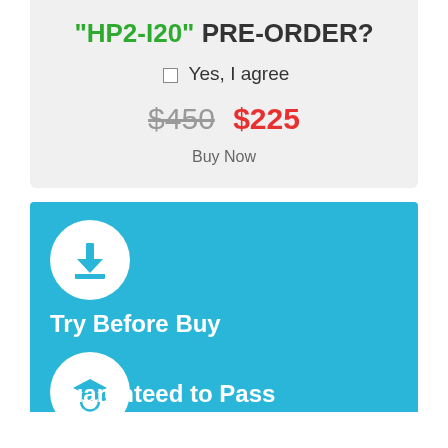"HP2-I20" PRE-ORDER?
Yes, I agree
$450  $225
Buy Now
[Figure (illustration): Download icon in white circle on cyan background]
Try Before Buy
[Figure (illustration): Graduation cap icon in white circle on cyan background]
Guaranteed to Pass